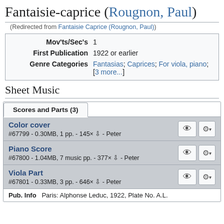Fantaisie-caprice (Rougnon, Paul)
(Redirected from Fantaisie Caprice (Rougnon, Paul))
| Label | Value |
| --- | --- |
| Mov'ts/Sec's | 1 |
| First Publication | 1922 or earlier |
| Genre Categories | Fantasias; Caprices; For viola, piano; [3 more...] |
Sheet Music
Scores and Parts (3)
Color cover
#67799 - 0.30MB, 1 pp. - 145× ⇩ - Peter
Piano Score
#67800 - 1.04MB, 7 music pp. - 377× ⇩ - Peter
Viola Part
#67801 - 0.33MB, 3 pp. - 646× ⇩ - Peter
Pub. Info   Paris: Alphonse Leduc, 1922, Plate No. A.L.